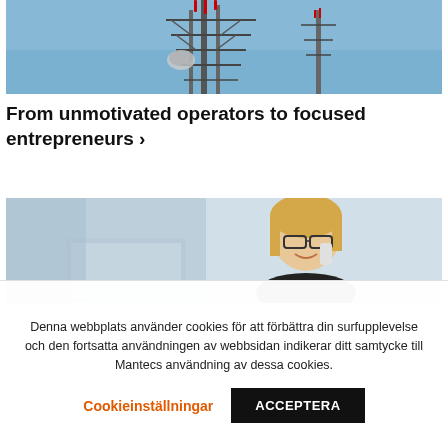[Figure (photo): Telecommunications tower with antennas against a blue sky]
From unmotivated operators to focused entrepreneurs ›
[Figure (photo): Young woman with glasses smiling while talking on phone, sitting at a desk]
Denna webbplats använder cookies för att förbättra din surfupplevelse och den fortsatta användningen av webbsidan indikerar ditt samtycke till Mantecs användning av dessa cookies.
Cookieinställningar
ACCEPTERA